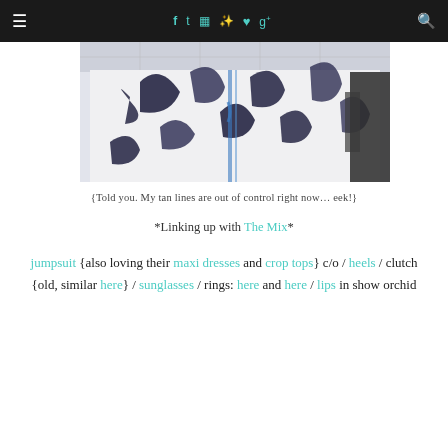≡  f  t  ☷  ℗  ♥  g+  🔍
[Figure (photo): Close-up photo of a person wearing a black and white floral/botanical print jumpsuit, cropped at torso level showing the patterned fabric with blue accents.]
{Told you. My tan lines are out of control right now… eek!}
*Linking up with The Mix*
jumpsuit {also loving their maxi dresses and crop tops} c/o / heels / clutch {old, similar here} / sunglasses / rings: here and here / lips in show orchid